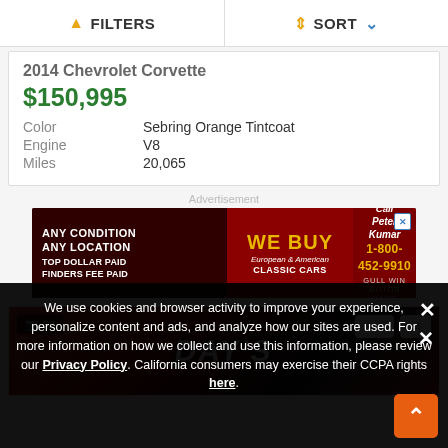FILTERS   SORT
2014 Chevrolet Corvette
$150,995
Color: Sebring Orange Tintcoat
Engine: V8
Miles: 20,065
Advertisement
[Figure (other): Ad banner: WE BUY European & American Classic Cars, Call Peter Kumar 1-800-452-9910, Gull Win Motor Cars]
[Figure (photo): Car listing photo with 53 images badge, heart/compare buttons, showing Day's dealership logo on red/dark background]
We use cookies and browser activity to improve your experience, personalize content and ads, and analyze how our sites are used. For more information on how we collect and use this information, please review our Privacy Policy. California consumers may exercise their CCPA rights here.